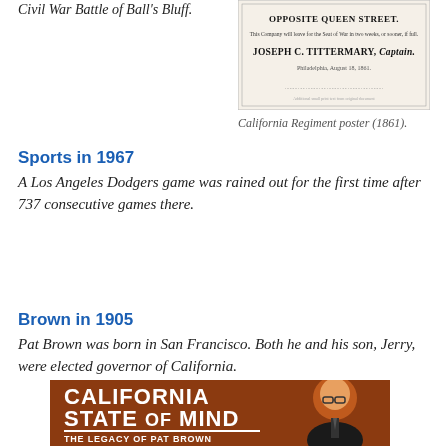Civil War Battle of Ball's Bluff.
[Figure (photo): Historical California Regiment poster (1861) showing text 'OPPOSITE QUEEN STREET.' and 'JOSEPH C. TITTERMARY, Captain.' with Philadelphia August 18 1861 date.]
California Regiment poster (1861).
Sports in 1967
A Los Angeles Dodgers game was rained out for the first time after 737 consecutive games there.
Brown in 1905
Pat Brown was born in San Francisco. Both he and his son, Jerry, were elected governor of California.
[Figure (photo): Book cover for 'California State of Mind: The Legacy of Pat Brown' featuring a man with glasses on a brown background with bold white text.]